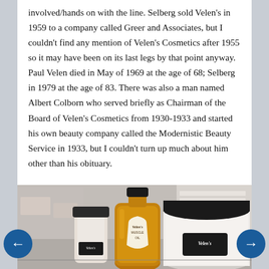involved/hands on with the line. Selberg sold Velen's in 1959 to a company called Greer and Associates, but I couldn't find any mention of Velen's Cosmetics after 1955 so it may have been on its last legs by that point anyway. Paul Velen died in May of 1969 at the age of 68; Selberg in 1979 at the age of 83. There was also a man named Albert Colborn who served briefly as Chairman of the Board of Velen's Cosmetics from 1930-1933 and started his own beauty company called the Modernistic Beauty Service in 1933, but I couldn't turn up much about him other than his obituary.
[Figure (photo): Photo of three vintage Velen's cosmetic product containers: a small clear/frosted bottle with a black cap and Velen's label, a amber/brown bottle labeled 'Velen's Muscle Oil' with a black cap, and a large white cylindrical container with black lid and Velen's label, displayed on what appears to be a table or counter.]